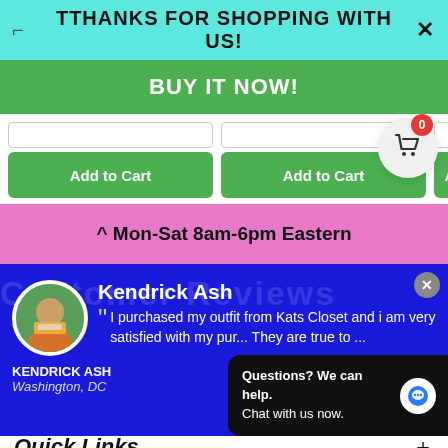TTHANKS FOR SHOPPING WITH US!
BUY IT NOW!
Add to Cart
Add to Cart
^ Mon-Sat 8am-6pm Eastern
Kendrick Ash
I purchased my outfit from Kats Closet and i am very satisfied with my pur... They are true to ...
KENDRICK ASH
Washington, DC
Questions? We can help.
Chat with us now.
Quick Links